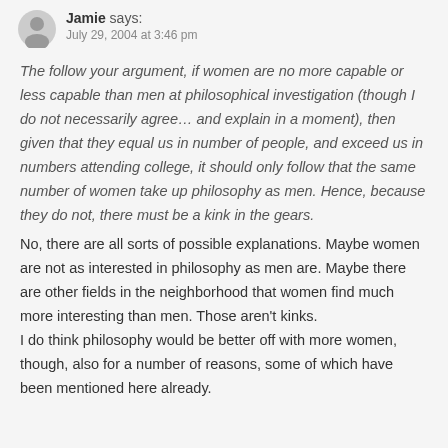Jamie says:
July 29, 2004 at 3:46 pm
The follow your argument, if women are no more capable or less capable than men at philosophical investigation (though I do not necessarily agree... and explain in a moment), then given that they equal us in number of people, and exceed us in numbers attending college, it should only follow that the same number of women take up philosophy as men. Hence, because they do not, there must be a kink in the gears. No, there are all sorts of possible explanations. Maybe women are not as interested in philosophy as men are. Maybe there are other fields in the neighborhood that women find much more interesting than men. Those aren't kinks. I do think philosophy would be better off with more women, though, also for a number of reasons, some of which have been mentioned here already.